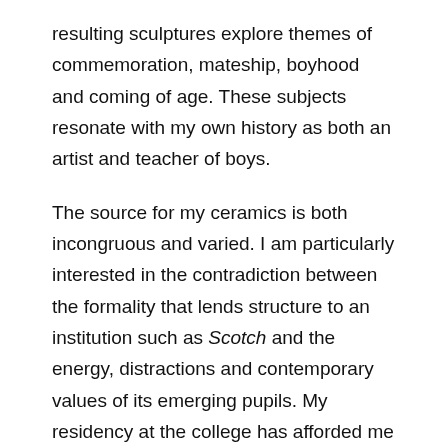resulting sculptures explore themes of commemoration, mateship, boyhood and coming of age. These subjects resonate with my own history as both an artist and teacher of boys.
The source for my ceramics is both incongruous and varied. I am particularly interested in the contradiction between the formality that lends structure to an institution such as Scotch and the energy, distractions and contemporary values of its emerging pupils. My residency at the college has afforded me the opportunity to direct my focus from teaching towards developing a professional ceramics practice. It has granted me the freedom to further develop and explore the possibilities of my preferred medium.